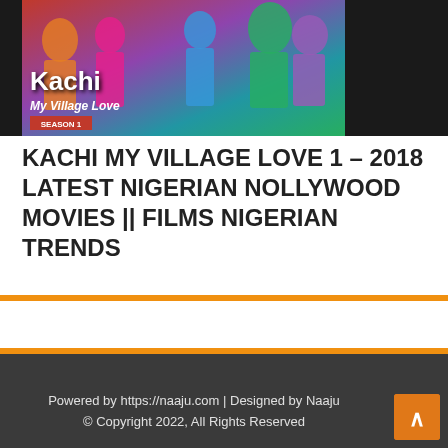[Figure (photo): Movie poster thumbnail for 'Kachi My Village Love Season 1' - a Nollywood movie showing multiple actors on a colorful background with the title text overlaid]
KACHI MY VILLAGE LOVE 1 – 2018 LATEST NIGERIAN NOLLYWOOD MOVIES || FILMS NIGERIAN TRENDS
Powered by https://naaju.com | Designed by Naaju © Copyright 2022, All Rights Reserved